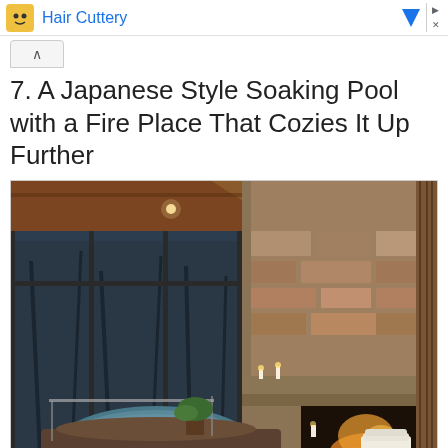Hair Cuttery
7. A Japanese Style Soaking Pool with a Fire Place That Cozies It Up Further
[Figure (photo): Interior photo of a Japanese-style soaking pool with a large stone fireplace, wood beam ceiling, floor-to-ceiling windows overlooking a forest, candles, plants, and rolled towels.]